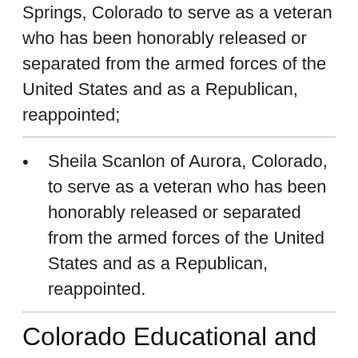Raymond Taylor of Pagosa Springs, Colorado to serve as a veteran who has been honorably released or separated from the armed forces of the United States and as a Republican, reappointed;
Sheila Scanlon of Aurora, Colorado, to serve as a veteran who has been honorably released or separated from the armed forces of the United States and as a Republican, reappointed.
Colorado Educational and